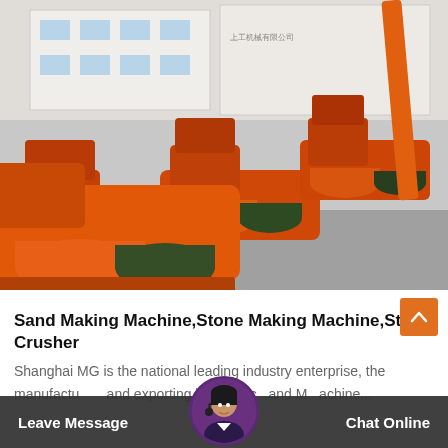[Figure (photo): Multiple orange industrial sand making machines / stone crushers lined up in a factory yard, with a white factory building in the background. The machines are large, orange-painted heavy equipment with cylindrical motor housings and green protective covers.]
Sand Making Machine,Stone Making Machine,Stone Crusher
Shanghai MG is the national leading industry enterprise, the manufacturing and exporting base for c... and M... achine...